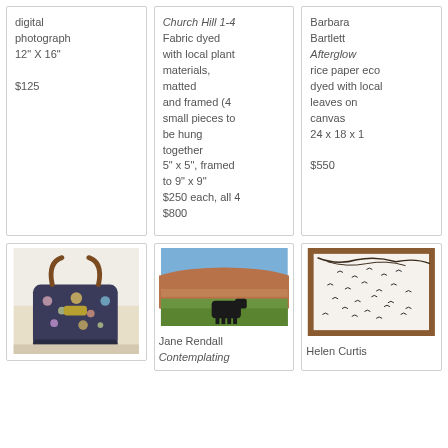digital photograph
12" X 16"
$125
Church Hill 1-4
Fabric dyed with local plant materials, matted and framed (4 small pieces to be hung together
5" x 5", framed to 9" x 9"
$250 each, all 4 $800
Barbara Bartlett
Afterglow
rice paper eco dyed with local leaves on canvas
24 x 18 x 1
$550
[Figure (photo): A decorative handbag with floral pattern and brown leather handles]
[Figure (photo): A black cow standing in a green field with hills in background]
Jane Rendall
Contemplating
[Figure (photo): A framed artwork showing silhouettes of birds in flight]
Helen Curtis